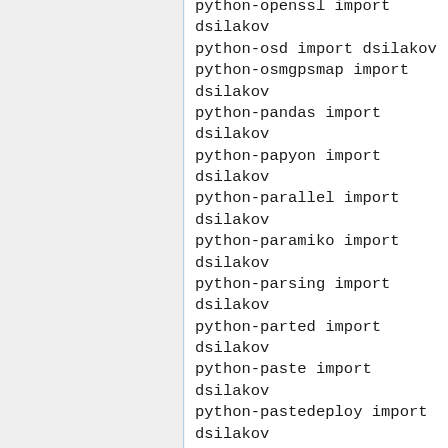python-openssl import dsilakov
python-osd import dsilakov
python-osmgpsmap import dsilakov
python-pandas import dsilakov
python-papyon import dsilakov
python-parallel import dsilakov
python-paramiko import dsilakov
python-parsing import dsilakov
python-parted import dsilakov
python-paste import dsilakov
python-pastedeploy import dsilakov
python-pastescript import dsilakov
python-pep8 import dsilakov